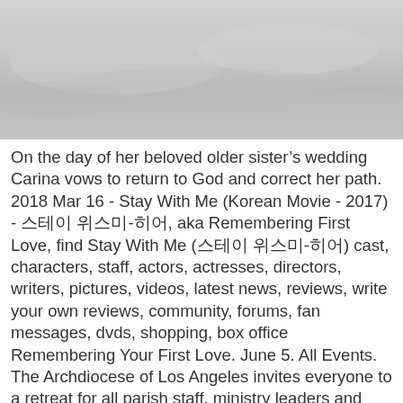[Figure (photo): Sky photo with light gray overcast clouds, muted tones.]
On the day of her beloved older sister’s wedding Carina vows to return to God and correct her path. 2018 Mar 16 - Stay With Me (Korean Movie - 2017) - 스테이 위스미-히어, aka Remembering First Love, find Stay With Me (스테이 위스미-히어) cast, characters, staff, actors, actresses, directors, writers, pictures, videos, latest news, reviews, write your own reviews, community, forums, fan messages, dvds, shopping, box office Remembering Your First Love. June 5. All Events. The Archdiocese of Los Angeles invites everyone to a retreat for all parish staff, ministry leaders and volunteers to Listen to Remembering First Love on